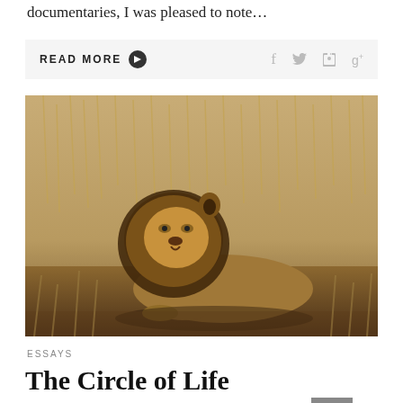documentaries, I was pleased to note…
READ MORE
[Figure (photo): A male lion with a dark mane resting in dry golden grass savanna habitat, looking to the side. The background is filled with tall dried grass.]
ESSAYS
The Circle of Life